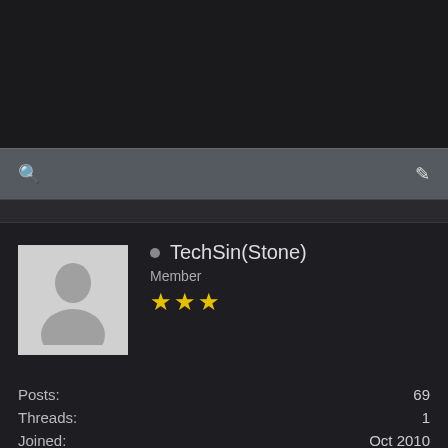[Figure (screenshot): Dark top bar / navigation area]
[Figure (screenshot): Search bar with search icon (magnifying glass) on left and pencil/edit icon on right, dark grey background]
TechSin(Stone)
Member
★★★
Posts: 69
Threads: 1
Joined: Oct 2010
Reputation: 0
18-11-2010, 12:16 AM  #8
Quote:
I gave you a koffiekoek ^^